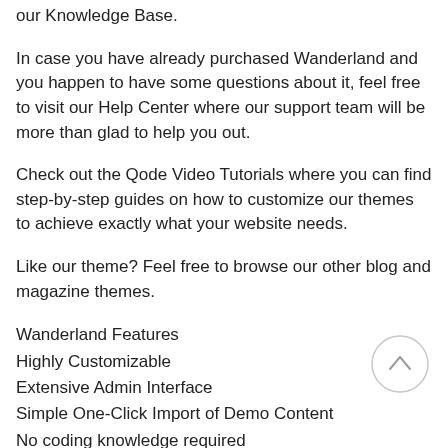our Knowledge Base.
In case you have already purchased Wanderland and you happen to have some questions about it, feel free to visit our Help Center where our support team will be more than glad to help you out.
Check out the Qode Video Tutorials where you can find step-by-step guides on how to customize our themes to achieve exactly what your website needs.
Like our theme? Feel free to browse our other blog and magazine themes.
Wanderland Features
Highly Customizable
Extensive Admin Interface
Simple One-Click Import of Demo Content
No coding knowledge required
[Figure (other): Circular scroll-to-top button with upward chevron arrow, light gray border]